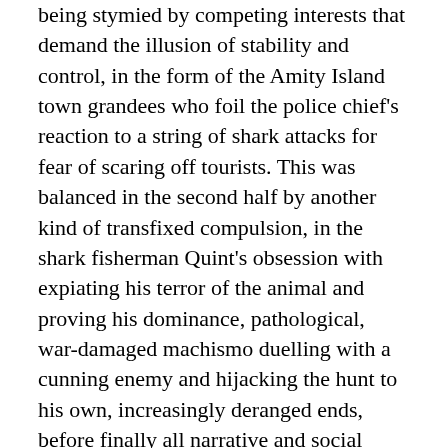being stymied by competing interests that demand the illusion of stability and control, in the form of the Amity Island town grandees who foil the police chief's reaction to a string of shark attacks for fear of scaring off tourists. This was balanced in the second half by another kind of transfixed compulsion, in the shark fisherman Quint's obsession with expiating his terror of the animal and proving his dominance, pathological, war-damaged machismo duelling with a cunning enemy and hijacking the hunt to his own, increasingly deranged ends, before finally all narrative and social complications are stripped away, leaving a raw tale of Leviatan terror. The flesh alone